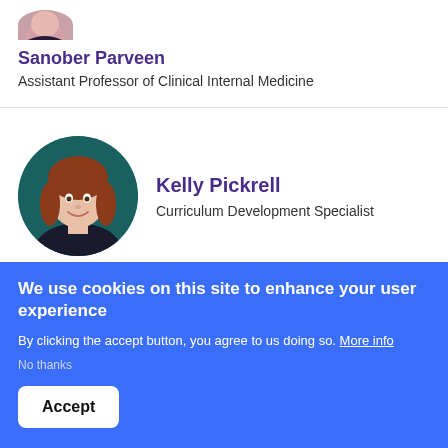[Figure (photo): Partial view of Sanober Parveen's profile photo (top portion cut off)]
Sanober Parveen
Assistant Professor of Clinical Internal Medicine
[Figure (photo): Circular profile photo of Kelly Pickrell, a woman with short reddish-brown hair, smiling, against a teal/dark background]
Kelly Pickrell
Curriculum Development Specialist
We use cookies on this site to enhance your user experience
By clicking the accept button, you agree to us doing so. More info
No thanks
Accept